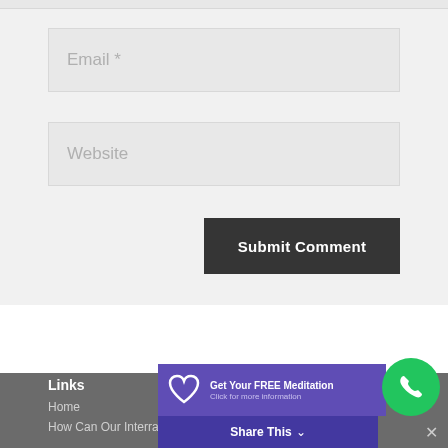Email *
Website
Submit Comment
Links
Home
How Can Our Interrative & Functional Medicine Practice Help
Get Your FREE Meditation
Click for more information
Share This